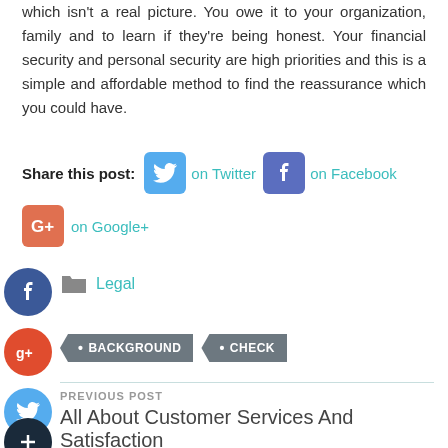which isn't a real picture. You owe it to your organization, family and to learn if they're being honest. Your financial security and personal security are high priorities and this is a simple and affordable method to find the reassurance which you could have.
Share this post: on Twitter on Facebook on Google+
Legal
BACKGROUND CHECK
PREVIOUS POST
All About Customer Services And Satisfaction
NEXT POST